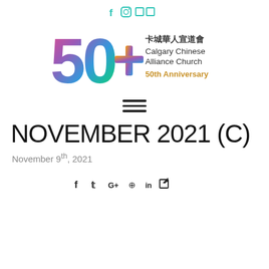Social media icons: Facebook, Instagram, and two additional icons
[Figure (logo): Calgary Chinese Alliance Church 50th Anniversary logo with colorful '50+' numeral and Chinese text 卡城華人宣道會]
[Figure (other): Hamburger menu icon (three horizontal lines)]
NOVEMBER 2021 (C)
November 9th, 2021
Social media footer icons: Facebook, Twitter, Google+, Pinterest, LinkedIn, external link